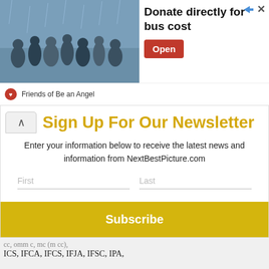[Figure (screenshot): Advertisement banner with photo of people in rain, text 'Donate directly for bus cost', red Open button, and 'Friends of Be an Angel' footer]
Sign Up For Our Newsletter
Enter your information below to receive the latest news and information from NextBestPicture.com
First | Last | Email Address
Subscribe
ICS, IFCA, IFCS, IFJA, IFSC, IPA,